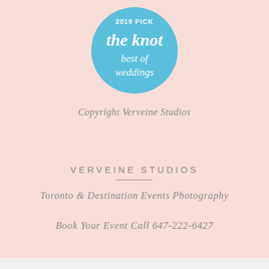[Figure (logo): The Knot Best of Weddings 2019 Pick badge — a sky-blue circle with white text reading '2019 PICK' at top and 'the knot best of weddings' in cursive and display type]
Copyright Verveine Studios
VERVEINE STUDIOS
Toronto & Destination Events Photography
Book Your Event Call 647-222-6427